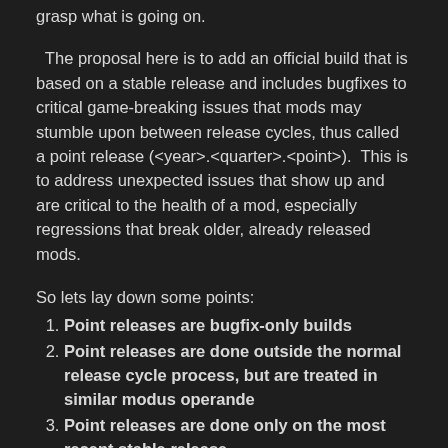grasp what is going on.
The proposal here is to add an official build that is based on a stable release and includes bugfixes to critical game-breaking issues that mods may stumble upon between release cycles, thus called a point release (<year>.<quarter>.<point>).  This is to address unexpected issues that show up and are critical to the health of a mod, especially regressions that break older, already released mods.
So lets lay down some points:
Point releases are bugfix-only builds
Point releases are done outside the normal release cycle process, but are treated in similar modus operande
Point releases are done only on the most recent stable release
Point releases are done by the discretion of the team
Point releases have the option of reverting a